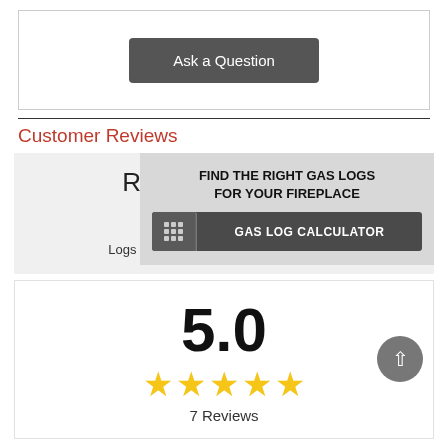Ask a Question
Customer Reviews
Review Summary
Real Fyre 18" R... English Oak ANSI Logs Set with Safety Pilot Kit  $792.20
[Figure (infographic): Popup overlay: FIND THE RIGHT GAS LOGS FOR YOUR FIREPLACE with a GAS LOG CALCULATOR button]
5.0
[Figure (other): 5 gold stars rating]
7 Reviews